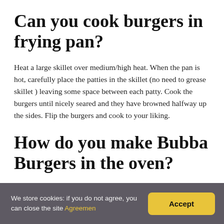Can you cook burgers in frying pan?
Heat a large skillet over medium/high heat. When the pan is hot, carefully place the patties in the skillet (no need to grease skillet ) leaving some space between each patty. Cook the burgers until nicely seared and they have browned halfway up the sides. Flip the burgers and cook to your liking.
How do you make Bubba Burgers in the oven?
How To Cook Bubba Burgers In The Oven?
We store cookies: if you do not agree, you can close the site Agreemen